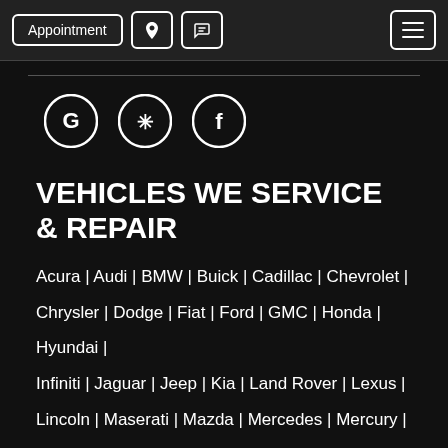Appointment | Phone | Location | Menu
[Figure (other): Social media icons: Google, Yelp, Facebook]
VEHICLES WE SERVICE & REPAIR
Acura | Audi | BMW | Buick | Cadillac | Chevrolet |
Chrysler | Dodge | Fiat | Ford | GMC | Honda | Hyundai |
Infiniti | Jaguar | Jeep | Kia | Land Rover | Lexus |
Lincoln | Maserati | Mazda | Mercedes | Mercury | MINI |